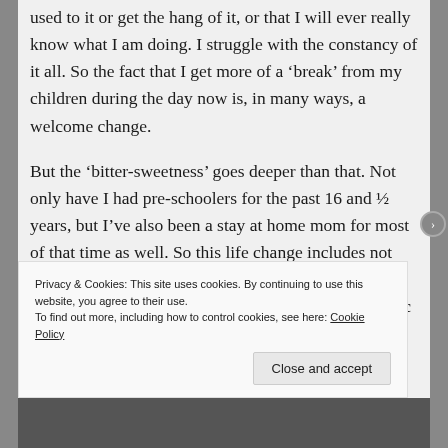used to it or get the hang of it, or that I will ever really know what I am doing. I struggle with the constancy of it all. So the fact that I get more of a ‘break’ from my children during the day now is, in many ways, a welcome change.
But the ‘bitter-sweetness’ goes deeper than that. Not only have I had pre-schoolers for the past 16 and ½ years, but I’ve also been a stay at home mom for most of that time as well. So this life change includes not only all kids in school, but also me going to back to work after a significant amount of time. And this topic is the one upon
Privacy & Cookies: This site uses cookies. By continuing to use this website, you agree to their use.
To find out more, including how to control cookies, see here: Cookie Policy
Close and accept